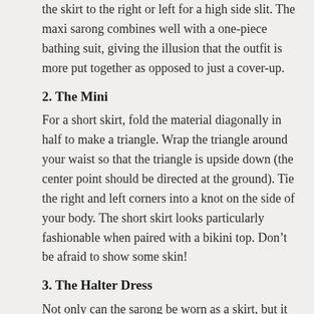the skirt to the right or left for a high side slit. The maxi sarong combines well with a one-piece bathing suit, giving the illusion that the outfit is more put together as opposed to just a cover-up.
2. The Mini
For a short skirt, fold the material diagonally in half to make a triangle. Wrap the triangle around your waist so that the triangle is upside down (the center point should be directed at the ground). Tie the right and left corners into a knot on the side of your body. The short skirt looks particularly fashionable when paired with a bikini top. Don't be afraid to show some skin!
3. The Halter Dress
Not only can the sarong be worn as a skirt, but it can also be twisted into an oh-so-fab dress. Start by holding the sarong horizontally. Wrap the cloth around your back and under your arms like you would a towel. Now take the top right